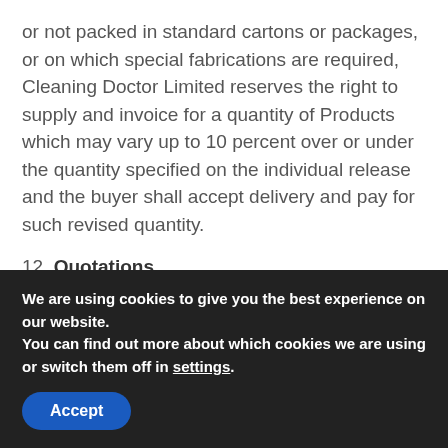or not packed in standard cartons or packages, or on which special fabrications are required, Cleaning Doctor Limited reserves the right to supply and invoice for a quantity of Products which may vary up to 10 percent over or under the quantity specified on the individual release and the buyer shall accept delivery and pay for such revised quantity.
12. Quotations
12.1 Unless otherwise specified, quotations are
We are using cookies to give you the best experience on our website.
You can find out more about which cookies we are using or switch them off in settings.
Accept